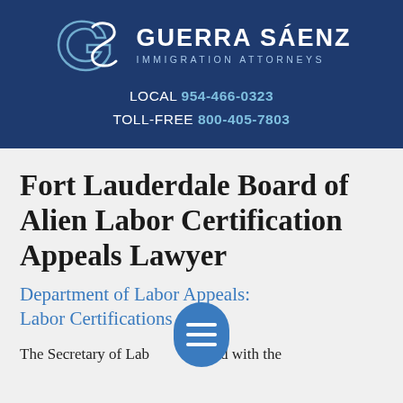[Figure (logo): Guerra Sáenz Immigration Attorneys logo with GS monogram in blue and white, firm name and tagline in white/light blue on dark navy background]
LOCAL 954-466-0323
TOLL-FREE 800-405-7803
Fort Lauderdale Board of Alien Labor Certification Appeals Lawyer
Department of Labor Appeals: Labor Certifications
The Secretary of Lab... arged with the